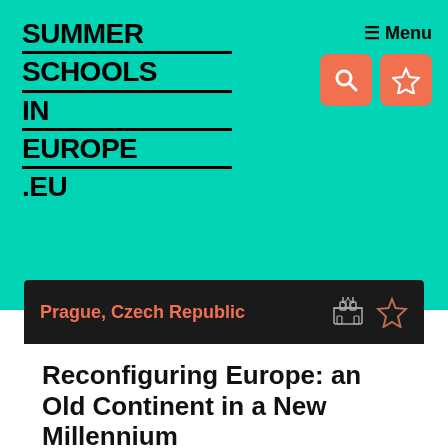SUMMER SCHOOLS IN EUROPE .EU
Prague, Czech Republic
Reconfiguring Europe: an Old Continent in a New Millennium
when 5 September 2015 - 20 September 2015
duration 3 weeks
credits 9.9EC